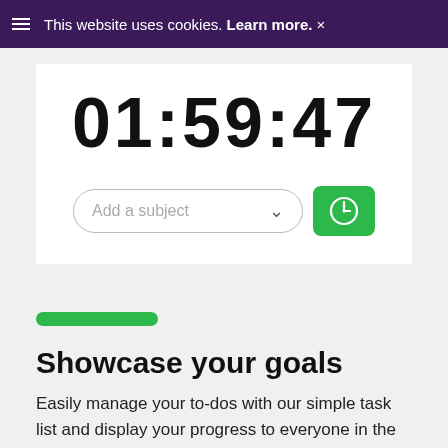This website uses cookies. Learn more. ×
01:59:47
Add a subject
[Figure (screenshot): Green clock/timer button icon (white clock face on green background)]
[Figure (illustration): Green rounded pill/bar decorative element]
Showcase your goals
Easily manage your to-dos with our simple task list and display your progress to everyone in the room.